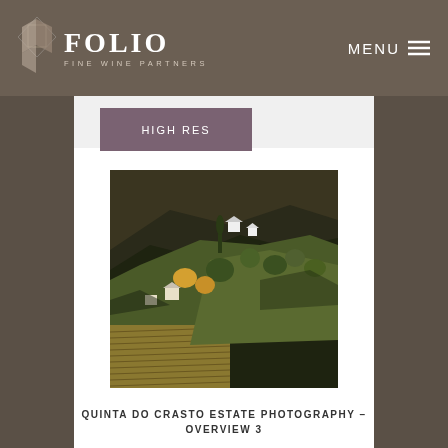FOLIO FINE WINE PARTNERS | MENU
HIGH RES
[Figure (photo): Aerial/hillside view of Quinta do Crasto wine estate with terraced vineyards, olive trees, and white estate buildings on a hilltop, Douro Valley, Portugal]
QUINTA DO CRASTO ESTATE PHOTOGRAPHY – OVERVIEW 3